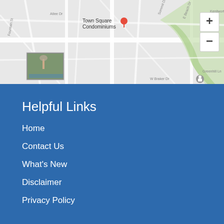[Figure (map): Google Maps view showing Town Square Condominiums, Taco Maya restaurant, Lalo's Mexican, and surrounding streets with zoom controls]
Helpful Links
Home
Contact Us
What's New
Disclaimer
Privacy Policy